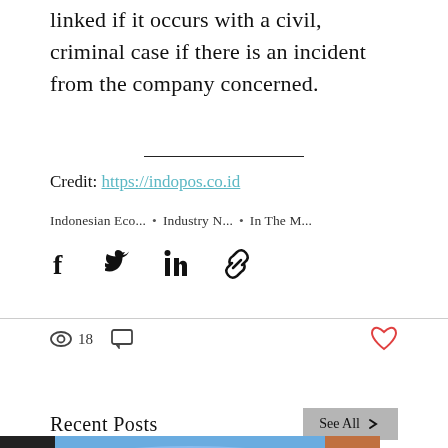linked if it occurs with a civil, criminal case if there is an incident from the company concerned.
Credit: https://indopos.co.id
Indonesian Eco...  •  Industry N...  •  In The M...
[Figure (infographic): Social share buttons: Facebook, Twitter, LinkedIn, Link/copy]
18 views, 0 comments, heart/like button
Recent Posts
See All
[Figure (photo): Three thumbnail images: a dark building, graduates throwing caps in the air, and a partial food/product image]